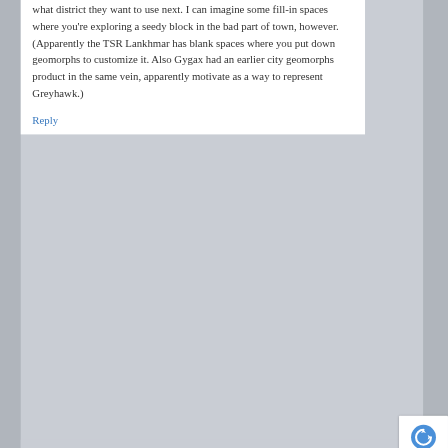what district they want to use next. I can imagine some fill-in spaces where you're exploring a seedy block in the bad part of town, however. (Apparently the TSR Lankhmar has blank spaces where you put down geomorphs to customize it. Also Gygax had an earlier city geomorphs product in the same vein, apparently motivate as a way to represent Greyhawk.)
Reply